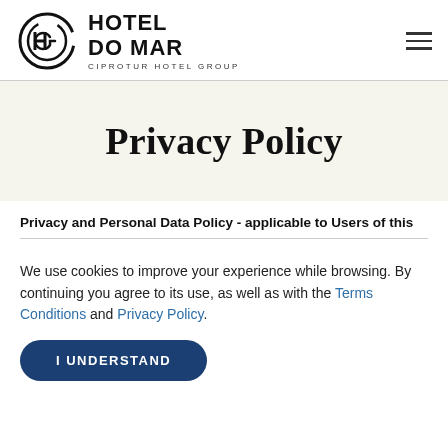[Figure (logo): Hotel Do Mar - Ciprotur Hotel Group logo with circular H G monogram]
Privacy Policy
Privacy and Personal Data Policy - applicable to Users of this
We use cookies to improve your experience while browsing. By continuing you agree to its use, as well as with the Terms Conditions and Privacy Policy.